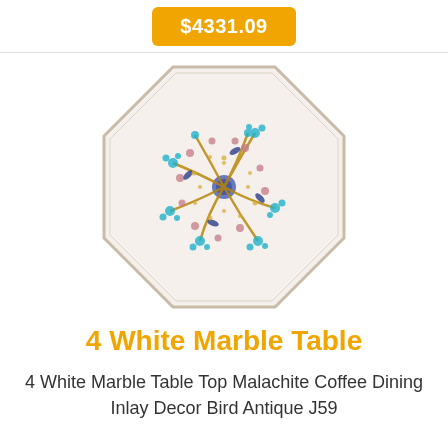$4331.09
[Figure (photo): Octagonal white marble table top with intricate multicolor inlay work featuring birds, flowers and foliage patterns in blue, teal, brown and gold on white marble]
4 White Marble Table
4 White Marble Table Top Malachite Coffee Dining Inlay Decor Bird Antique J59